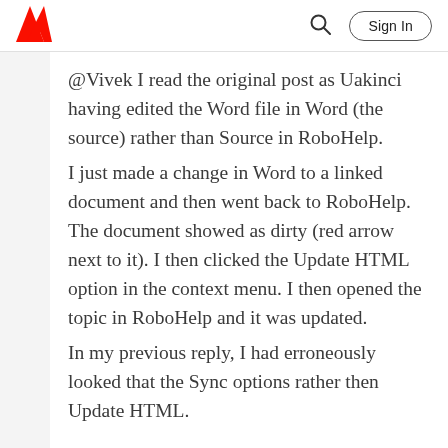Adobe | Sign In
@Vivek I read the original post as Uakinci having edited the Word file in Word (the source) rather than Source in RoboHelp.
I just made a change in Word to a linked document and then went back to RoboHelp. The document showed as dirty (red arrow next to it). I then clicked the Update HTML option in the context menu. I then opened the topic in RoboHelp and it was updated.
In my previous reply, I had erroneously looked that the Sync options rather then Update HTML.